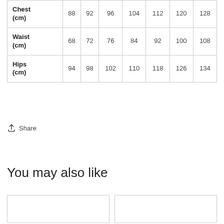|  |  |  |  |  |  |  |  |
| --- | --- | --- | --- | --- | --- | --- | --- |
| Chest (cm) | 88 | 92 | 96 | 104 | 112 | 120 | 128 |
| Waist (cm) | 68 | 72 | 76 | 84 | 92 | 100 | 108 |
| Hips (cm) | 94 | 98 | 102 | 110 | 118 | 126 | 134 |
Share
You may also like